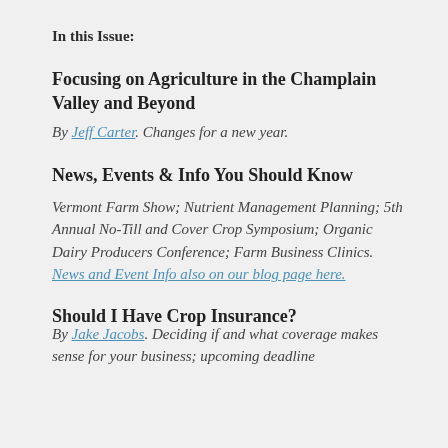In this Issue:
Focusing on Agriculture in the Champlain Valley and Beyond
By Jeff Carter. Changes for a new year.
News, Events & Info You Should Know
Vermont Farm Show; Nutrient Management Planning; 5th Annual No-Till and Cover Crop Symposium; Organic Dairy Producers Conference; Farm Business Clinics. News and Event Info also on our blog page here.
Should I Have Crop Insurance?
By Jake Jacobs. Deciding if and what coverage makes sense for your business; upcoming deadline